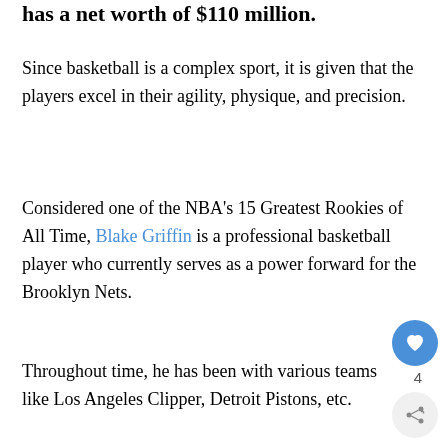has a net worth of $110 million.
Since basketball is a complex sport, it is given that the players excel in their agility, physique, and precision.
Considered one of the NBA's 15 Greatest Rookies of All Time, Blake Griffin is a professional basketball player who currently serves as a power forward for the Brooklyn Nets.
Throughout time, he has been with various teams like Los Angeles Clipper, Detroit Pistons, etc.